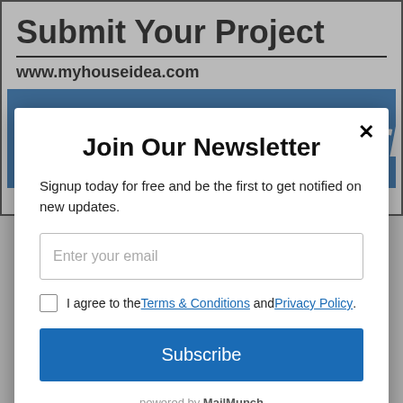Submit Your Project
www.myhouseidea.com
[Figure (illustration): Blue banner with white italic bold text reading 'Show Your Work To']
Join Our Newsletter
Signup today for free and be the first to get notified on new updates.
Enter your email
I agree to the Terms & Conditions and Privacy Policy.
Subscribe
powered by MailMunch